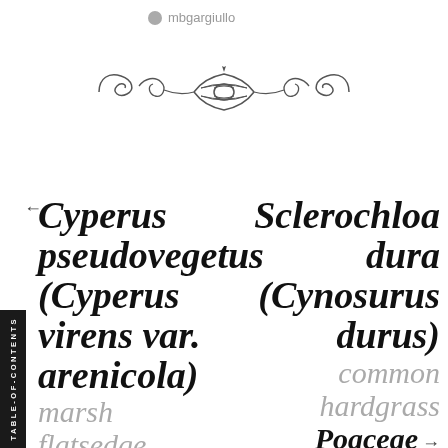mbgargiullo
[Figure (illustration): Decorative floral/scroll ornament divider]
← Cyperus pseudovegetus (Cyperus virens var. arenicola) marsh flatsedge
Sclerochloa dura (Cynosurus durus) common hardgrass Poaceae →